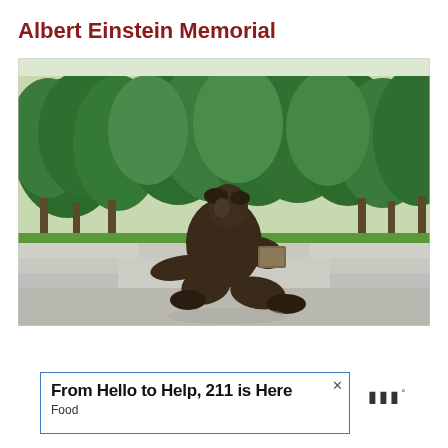Albert Einstein Memorial
[Figure (photo): Bronze statue of Albert Einstein seated casually on a stone bench, holding papers/a notebook, with lush green trees in the background at the Albert Einstein Memorial.]
From Hello to Help, 211 is Here
Food